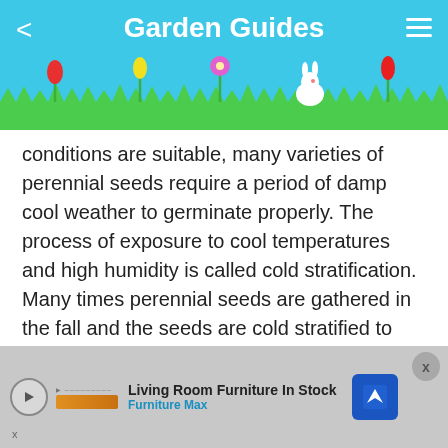Garden Guides
[Figure (illustration): Decorative garden scene with grass, colorful tulips and flowers, a white rabbit, against a blue sky background]
conditions are suitable, many varieties of perennial seeds require a period of damp cool weather to germinate properly. The process of exposure to cool temperatures and high humidity is called cold stratification. Many times perennial seeds are gathered in the fall and the seeds are cold stratified to encourage them to sprout in the spring. The temperature and amount of time required for successful cold stratification varies for different perennial seeds.
Living Room Furniture In Stock
Furniture Max